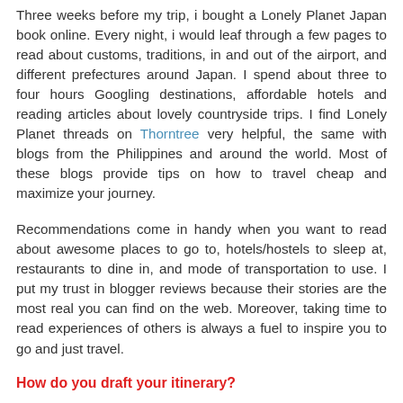Three weeks before my trip, i bought a Lonely Planet Japan book online. Every night, i would leaf through a few pages to read about customs, traditions, in and out of the airport, and different prefectures around Japan. I spend about three to four hours Googling destinations, affordable hotels and reading articles about lovely countryside trips. I find Lonely Planet threads on Thorntree very helpful, the same with blogs from the Philippines and around the world. Most of these blogs provide tips on how to travel cheap and maximize your journey.
Recommendations come in handy when you want to read about awesome places to go to, hotels/hostels to sleep at, restaurants to dine in, and mode of transportation to use. I put my trust in blogger reviews because their stories are the most real you can find on the web. Moreover, taking time to read experiences of others is always a fuel to inspire you to go and just travel.
How do you draft your itinerary?
One of the most crucial parts of planning a trip to Japan is